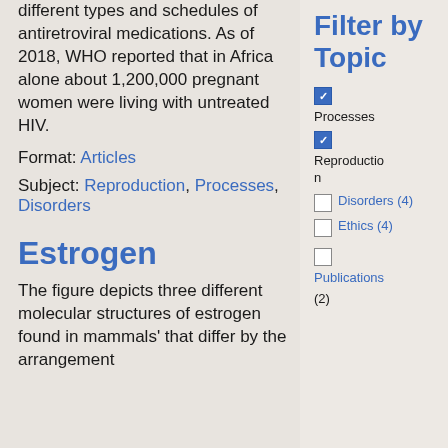different types and schedules of antiretroviral medications. As of 2018, WHO reported that in Africa alone about 1,200,000 pregnant women were living with untreated HIV.
Format: Articles
Subject: Reproduction, Processes, Disorders
Estrogen
The figure depicts three different molecular structures of estrogen found in mammals' that differ by the arrangement
Filter by Topic
Processes (checked)
Reproduction (checked)
Disorders (4) (unchecked)
Ethics (4) (unchecked)
Publications (unchecked)